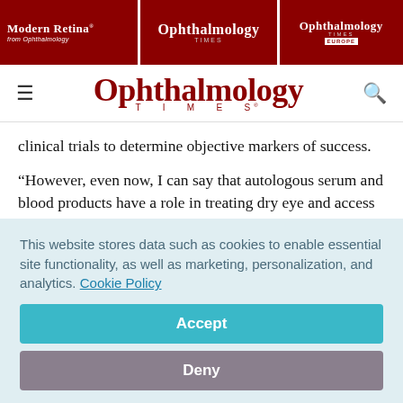Modern Retina | Ophthalmology Times | Ophthalmology Times Europe
[Figure (logo): Ophthalmology Times logo with hamburger menu and search icon]
clinical trials to determine objective markers of success.
“However, even now, I can say that autologous serum and blood products have a role in treating dry eye and access to these products is improving. However, more investigations are needed into the components in the serum to determine
This website stores data such as cookies to enable essential site functionality, as well as marketing, personalization, and analytics. Cookie Policy
Accept
Deny